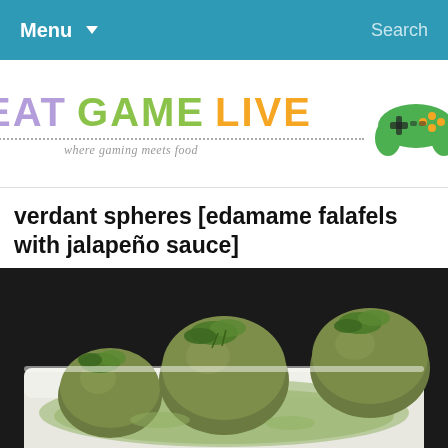Menu ▼    Search
[Figure (logo): Eat Game Live logo — EAT in purple, GAME in green, LIVE in orange, with dotted underline, tagline 'where gaming meets food', and a green game controller with fork icon]
verdant spheres [edamame falafels with jalapeño sauce]
[Figure (photo): Food photograph of three round green edamame falafel balls on a white rectangular plate, topped with fresh parsley, sitting in a green jalapeño sauce, on a dark background]